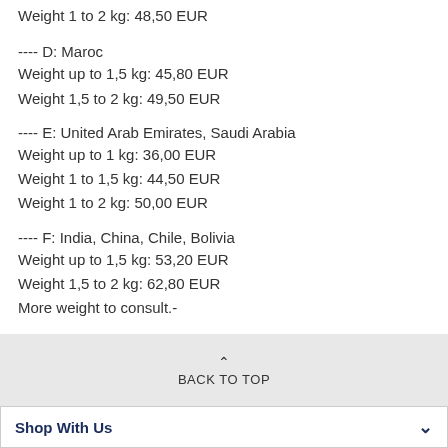Weight 1 to 2 kg: 48,50 EUR
---- D: Maroc
Weight up to 1,5 kg: 45,80 EUR
Weight 1,5 to 2 kg: 49,50 EUR
---- E: United Arab Emirates, Saudi Arabia
Weight up to 1 kg: 36,00 EUR
Weight 1 to 1,5 kg: 44,50 EUR
Weight 1 to 2 kg: 50,00 EUR
---- F: India, China, Chile, Bolivia
Weight up to 1,5 kg: 53,20 EUR
Weight 1,5 to 2 kg: 62,80 EUR
More weight to consult.-
---- Other countries to consult ----
BACK TO TOP
Shop With Us